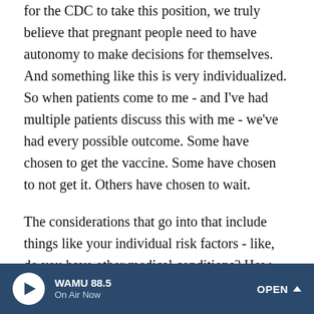for the CDC to take this position, we truly believe that pregnant people need to have autonomy to make decisions for themselves. And something like this is very individualized. So when patients come to me - and I've had multiple patients discuss this with me - we've had every possible outcome. Some have chosen to get the vaccine. Some have chosen to not get it. Others have chosen to wait.
The considerations that go into that include things like your individual risk factors - like, do you have other medical conditions? How sick are you at baseline? Your occupational exposure, your household exposure - do other people in your house work in high-risk settings? Do they participate in high-risk behaviors? So for example, if you have a partner who is still going to bars where bars are open, we know that that's a
WAMU 88.5 On Air Now OPEN